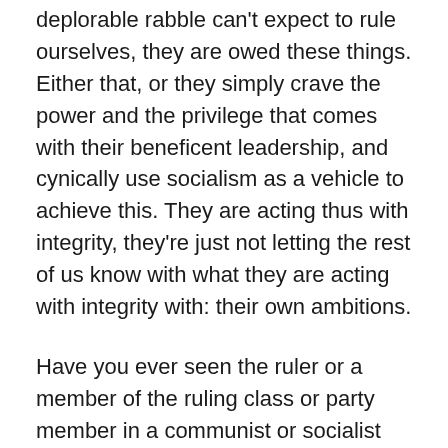deplorable rabble can't expect to rule ourselves, they are owed these things. Either that, or they simply crave the power and the privilege that comes with their beneficent leadership, and cynically use socialism as a vehicle to achieve this. They are acting thus with integrity, they're just not letting the rest of us know with what they are acting with integrity with: their own ambitions.
Have you ever seen the ruler or a member of the ruling class or party member in a communist or socialist country that didn't live above the lifestyle of those they ruled over? Have you ever seen such a leader who considered themselves the equal of those they ruled over, even under the law? The last ruler of any stripe to make it a point of living just like the common man was probably Henry V of England. He fought, suffered, and eventually died among his men. The anomaly of this is probably what prompted